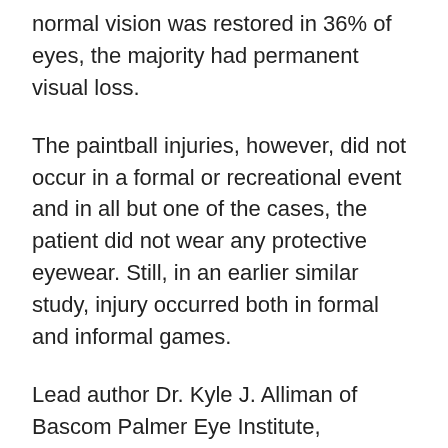normal vision was restored in 36% of eyes, the majority had permanent visual loss.
The paintball injuries, however, did not occur in a formal or recreational event and in all but one of the cases, the patient did not wear any protective eyewear. Still, in an earlier similar study, injury occurred both in formal and informal games.
Lead author Dr. Kyle J. Alliman of Bascom Palmer Eye Institute, University of Miami Miller School of Medicine, said, "Eye injuries secondary to high-velocity paintballs can cause tremendous